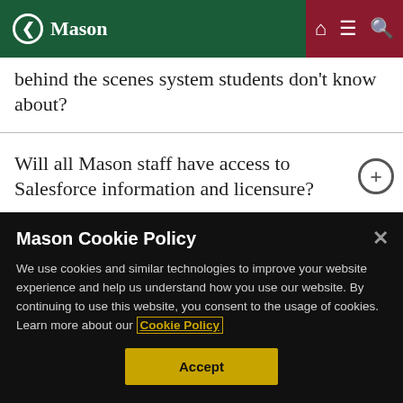Mason
behind the scenes system students don't know about?
Will all Mason staff have access to Salesforce information and licensure?
When can academic units expect to
Mason Cookie Policy
We use cookies and similar technologies to improve your website experience and help us understand how you use our website. By continuing to use this website, you consent to the usage of cookies. Learn more about our Cookie Policy